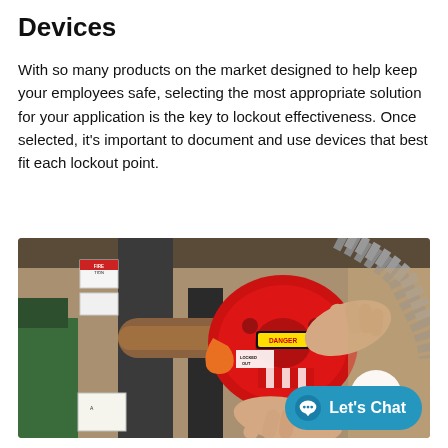Devices
With so many products on the market designed to help keep your employees safe, selecting the most appropriate solution for your application is the key to lockout effectiveness. Once selected, it's important to document and use devices that best fit each lockout point.
[Figure (photo): A person's hands installing a red lockout device on an industrial valve/pipe. The device has a DANGER 'LOCKED OUT' label. The background shows industrial equipment, pipes, conduit, and a fire action sign.]